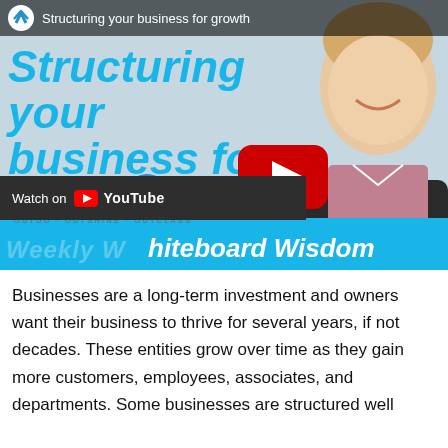[Figure (screenshot): YouTube video thumbnail for 'Structuring your business for growth' by MaxMyProfit. Shows large cyan italic text 'Structuring your business for growth', a YouTube play button, MaxMyProfit logo, a man in a plaid shirt smiling on the right, a 'Watch on YouTube' overlay bar at the bottom left, and a cyan banner reading 'Weekly Whiteboard Wisdom'.]
Businesses are a long-term investment and owners want their business to thrive for several years, if not decades. These entities grow over time as they gain more customers, employees, associates, and departments. Some businesses are structured well